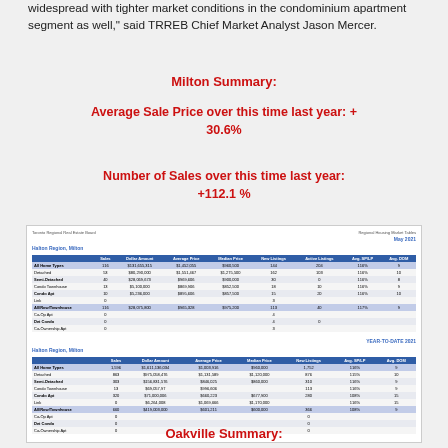widespread with tighter market conditions in the condominium apartment segment as well," said TRREB Chief Market Analyst Jason Mercer.
Milton Summary:
Average Sale Price over this time last year:  + 30.6%
Number of Sales over this time last year: +112.1 %
[Figure (table-as-image): Toronto Regional Real Estate Board Regional Housing Market Tables. Two tables for Halton Region, Milton. First table: May 2021 with columns Sales, Dollar Amount, Average Price, Median Price, New Listings, Active Listings, Avg. SP/LP, Avg. DOM. Second table: YEAR-TO-DATE 2021 with same columns minus Active Listings.]
Oakville Summary: